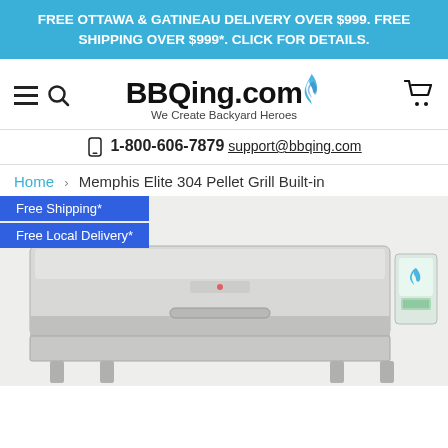FREE OTTAWA & GATINEAU DELIVERY OVER $999. FREE SHIPPING OVER $999*. CLICK FOR DETAILS.
[Figure (logo): BBQing.com logo with flame icon and tagline 'We Create Backyard Heroes', hamburger menu, search icon, and shopping cart icon]
1-800-606-7879 support@bbqing.com
Home › Memphis Elite 304 Pellet Grill Built-in
[Figure (photo): Memphis Elite 304 Pellet Grill Built-in stainless steel grill with digital controller on the right side. Two badges: 'Free Shipping*' and 'Free Local Delivery*' overlaid on top-left.]